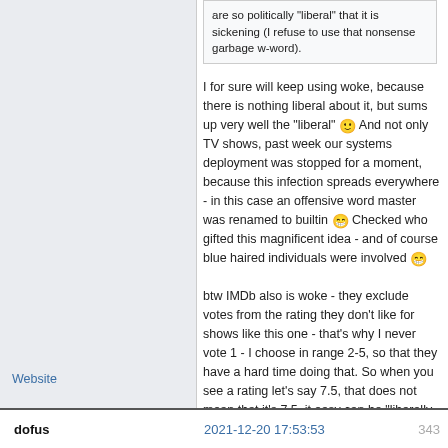are so politically "liberal" that it is sickening (I refuse to use that nonsense garbage w-word).
I for sure will keep using woke, because there is nothing liberal about it, but sums up very well the "liberal" 🙂 And not only TV shows, past week our systems deployment was stopped for a moment, because this infection spreads everywhere - in this case an offensive word master was renamed to builtin 😁 Checked who gifted this magnificent idea - and of course blue haired individuals were involved 😁
btw IMDb also is woke - they exclude votes from the rating they don't like for shows like this one - that's why I never vote 1 - I choose in range 2-5, so that they have a hard time doing that. So when you see a rating let's say 7.5, that does not mean that it's 7.5, it easy can be "liberally adjusted" 🙂 Same effect as now after YT removed the dislike counter the worst videos in the history still has millions of likes, you just don't see these 100 mil. dislikes.
Website
dofus
2021-12-20 17:53:53
343